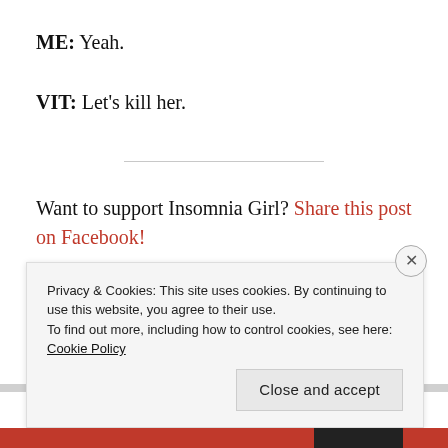ME: Yeah.
VIT: Let’s kill her.
Want to support Insomnia Girl? Share this post on Facebook!
Privacy & Cookies: This site uses cookies. By continuing to use this website, you agree to their use.
To find out more, including how to control cookies, see here: Cookie Policy
Close and accept